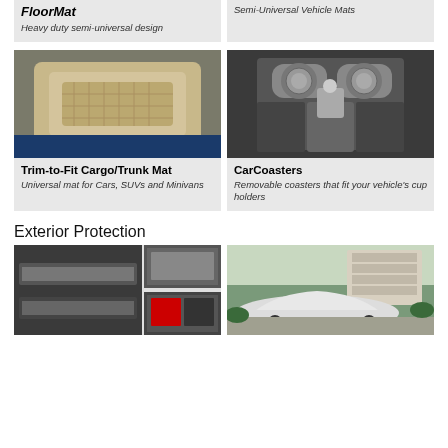FloorMat
Heavy duty semi-universal design
Semi-Universal Vehicle Mats
[Figure (photo): Beige trim-to-fit cargo/trunk mat in car trunk]
Trim-to-Fit Cargo/Trunk Mat
Universal mat for Cars, SUVs and Minivans
[Figure (photo): Car center console with cup holders and gear shift]
CarCoasters
Removable coasters that fit your vehicle's cup holders
Exterior Protection
[Figure (photo): Running board / side step product collage showing multiple views]
[Figure (photo): Car cover on a vehicle in a garage driveway]